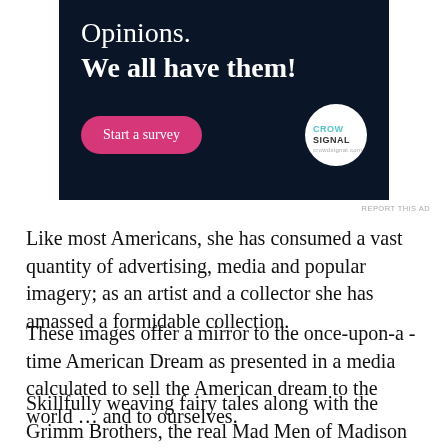[Figure (infographic): Advertisement banner with dark navy background showing 'Opinions. We all have them!' text, a pink 'Start a survey' button, and a Crowdsignal logo circle]
REPORT THIS AD
Like most Americans, she has consumed a vast quantity of advertising, media and popular imagery; as an artist and a collector she has amassed a formidable collection.
These images offer a mirror to the once-upon-a -time American Dream as presented in a media calculated to sell the American dream to the world … and to ourselves.
Skillfully weaving fairy tales along with the Grimm Brothers, the real Mad Men of Madison Avenue spun a